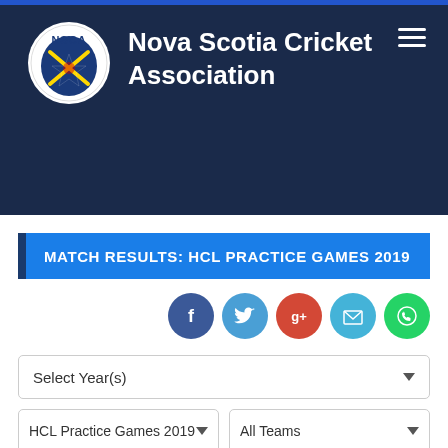[Figure (logo): Nova Scotia Cricket Association logo — circular badge with NSCA text and crossed cricket bats on a blue/white background]
Nova Scotia Cricket Association
MATCH RESULTS: HCL PRACTICE GAMES 2019
[Figure (infographic): Social share icons row: Facebook (dark blue), Twitter (light blue), Google+ (red), Email (sky blue), WhatsApp (green)]
Select Year(s)
HCL Practice Games 2019
All Teams